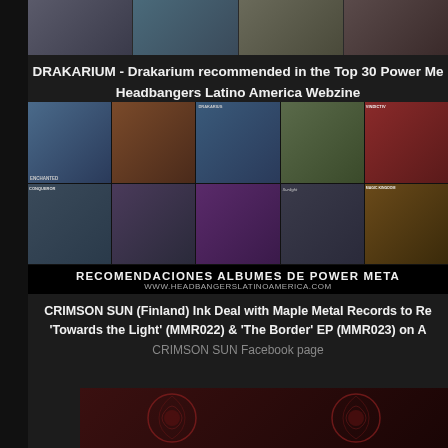[Figure (photo): Partial photo strip of band members or musicians at top of page]
DRAKARIUM - Drakarium recommended in the Top 30 Power Me... Headbangers Latino America Webzine
[Figure (other): Grid of metal album covers with banner text: RECOMENDACIONES ALBUMES DE POWER META... and WWW.HEADBANGERSLATINOAMERICA.COM]
CRIMSON SUN (Finland) Ink Deal with Maple Metal Records to Re... 'Towards the Light' (MMR022) & 'The Border' EP (MMR023) on A... CRIMSON SUN Facebook page
[Figure (photo): Partial bottom image with dark red ornamental design, likely Crimson Sun band imagery]